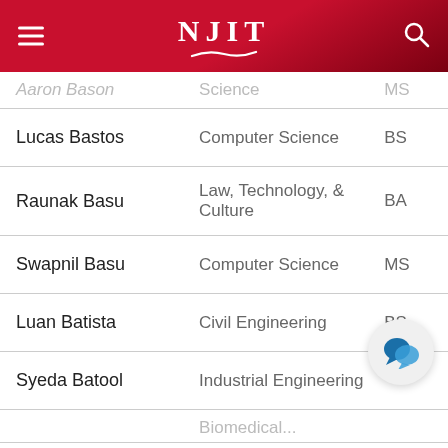NJIT
| Name | Program | Degree |
| --- | --- | --- |
| Aaron Bason | Computer Science | MS |
| Lucas Bastos | Computer Science | BS |
| Raunak Basu | Law, Technology, & Culture | BA |
| Swapnil Basu | Computer Science | MS |
| Luan Batista | Civil Engineering | BS |
| Syeda Batool | Industrial Engineering |  |
|  | Biomedical... |  |